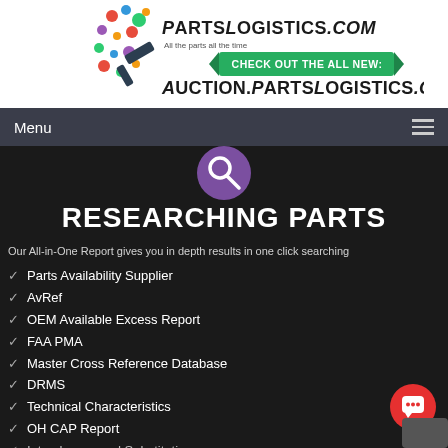[Figure (logo): PartsLogistics.com logo with colorful dots and auction hammer, plus green banner reading CHECK OUT THE ALL NEW: Auction.PartsLogistics.com]
Menu
[Figure (illustration): Purple circle icon with magnifying glass]
RESEARCHING PARTS
Our All-in-One Report gives you in depth results in one click searching
Parts Availability Supplier
AvRef
OEM Available Excess Report
FAA PMA
Master Cross Reference Database
DRMS
Technical Characteristics
OH CAP Report
Interchange and Substitution